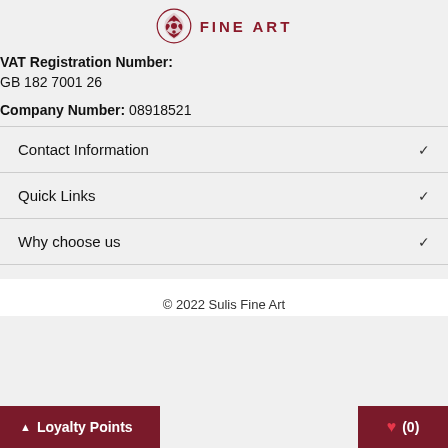[Figure (logo): Sulis Fine Art logo: red ornamental emblem with FINE ART text in dark red]
VAT Registration Number:
GB 182 7001 26
Company Number: 08918521
Contact Information
Quick Links
Why choose us
© 2022 Sulis Fine Art
Loyalty Points
(0)